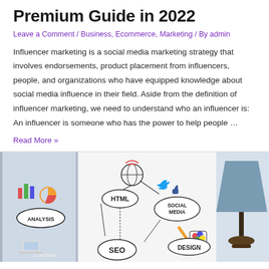Premium Guide in 2022
Leave a Comment / Business, Ecommerce, Marketing / By admin
Influencer marketing is a social media marketing strategy that involves endorsements, product placement from influencers, people, and organizations who have equipped knowledge about social media influence in their field. Aside from the definition of influencer marketing, we need to understand who an influencer is: An influencer is someone who has the power to help people …
Read More »
[Figure (illustration): Hand-drawn sketch illustration showing digital marketing concepts including icons and labels for: Analysis, HTML, Social Media (with globe, Twitter bird, thumbs up icons), Design (with pencil and color palette), SEO, and Content, with a blurred lamp in the background right side.]